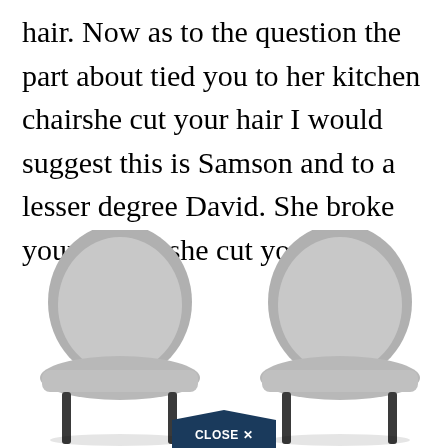hair. Now as to the question the part about tied you to her kitchen chairshe cut your hair I would suggest this is Samson and to a lesser degree David. She broke your throne she cut your hair.
[Figure (photo): Two modern gray upholstered dining chairs with black metal legs, shown side by side against a white background. A 'CLOSE X' button overlay appears at the bottom center.]